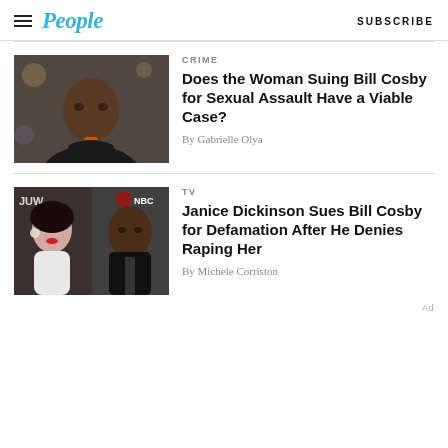People — SUBSCRIBE
[Figure (photo): Photo of Bill Cosby in black jacket and orange tie]
CRIME
Does the Woman Suing Bill Cosby for Sexual Assault Have a Viable Case?
By Gabrielle Olya
[Figure (photo): Photo of Janice Dickinson and Bill Cosby side by side]
TV
Janice Dickinson Sues Bill Cosby for Defamation After He Denies Raping Her
By Michele Corriston
Ad